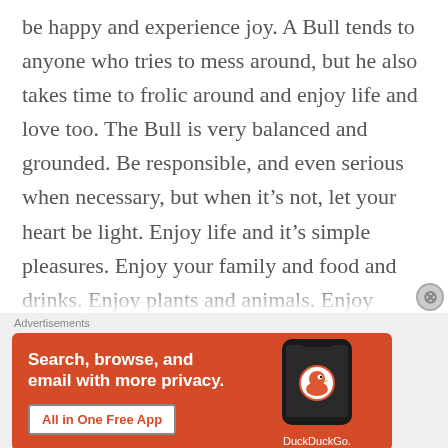be happy and experience joy. A Bull tends to anyone who tries to mess around, but he also takes time to frolic around and enjoy life and love too. The Bull is very balanced and grounded. Be responsible, and even serious when necessary, but when it's not, let your heart be light. Enjoy life and it's simple pleasures. Enjoy your family and food and drinks. Enjoy plants and animals. Enjoy nature. We have joy right here and now, we do not need anything more than this moment. Look around you and find the joy. Create some joy and beauty. Enhance every type of love in your life. Love yourself, and watch love
[Figure (other): DuckDuckGo advertisement banner with orange background. Text reads: 'Search, browse, and email with more privacy. All in One Free App'. Shows a phone with DuckDuckGo logo and the DuckDuckGo wordmark.]